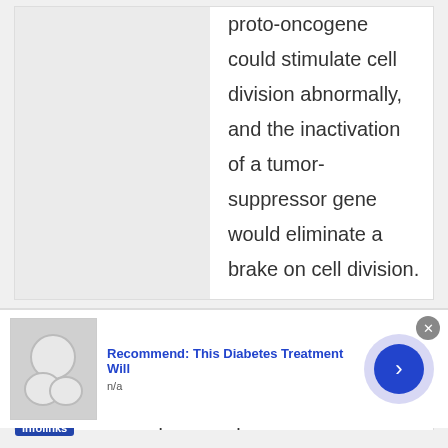proto-oncogene could stimulate cell division abnormally, and the inactivation of a tumor-suppressor gene would eliminate a brake on cell division.
Which of the following
They stimulate
sses do normal
Recommend: This Diabetes Treatment Will
n/a